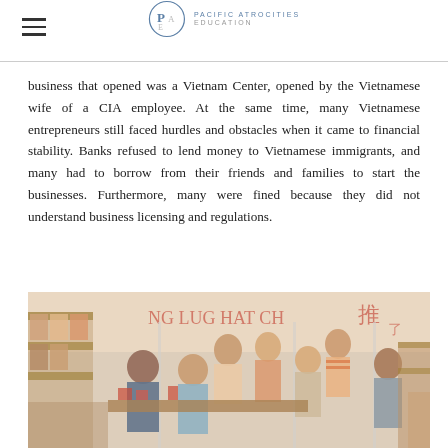Pacific Atrocities Education
business that opened was a Vietnam Center, opened by the Vietnamese wife of a CIA employee. At the same time, many Vietnamese entrepreneurs still faced hurdles and obstacles when it came to financial stability. Banks refused to lend money to Vietnamese immigrants, and many had to borrow from their friends and families to start the businesses. Furthermore, many were fined because they did not understand business licensing and regulations.
[Figure (photo): Vintage photograph of a busy Vietnamese or Asian marketplace or store interior, with multiple people shopping, shelves stocked with products, and signs with Asian characters visible in the background.]